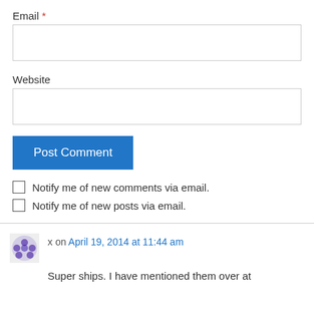Email *
Website
Post Comment
Notify me of new comments via email.
Notify me of new posts via email.
x on April 19, 2014 at 11:44 am
Super ships. I have mentioned them over at